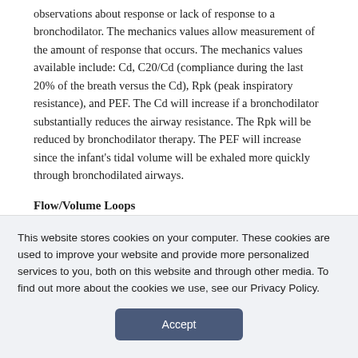observations about response or lack of response to a bronchodilator. The mechanics values allow measurement of the amount of response that occurs. The mechanics values available include: Cd, C20/Cd (compliance during the last 20% of the breath versus the Cd), Rpk (peak inspiratory resistance), and PEF. The Cd will increase if a bronchodilator substantially reduces the airway resistance. The Rpk will be reduced by bronchodilator therapy. The PEF will increase since the infant's tidal volume will be exhaled more quickly through bronchodilated airways.
Flow/Volume Loops
The flow/volume loop (Figure 2) is best suited to examine airway resistance issues such as obstructive airways, patency of the endotracheal tube, or secretions in the airways. This loop
This website stores cookies on your computer. These cookies are used to improve your website and provide more personalized services to you, both on this website and through other media. To find out more about the cookies we use, see our Privacy Policy.